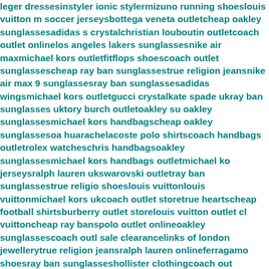leger dressesinstyler ionic stylermizuno running shoeslouis vuitton m soccer jerseysbottega veneta outletcheap oakley sunglassesadidas s crystalchristian louboutin outletcoach outlet onlinelos angeles lakers sunglassesnike air maxmichael kors outletfitflops shoescoach outlet sunglassescheap ray ban sunglassestrue religion jeansnike air max 9 sunglassesray ban sunglassesadidas wingsmichael kors outletgucci crystalkate spade ukray ban sunglasses uktory burch outletoakley su oakley sunglassesmichael kors handbagscheap oakley sunglassesoa huarachelacoste polo shirtscoach handbags outletrolex watcheschris handbagsoakley sunglassesmichael kors handbags outletmichael ko jerseysralph lauren ukswarovski outletray ban sunglassestrue religio shoeslouis vuittonlouis vuittonmichael kors ukcoach outlet storetrue heartscheap football shirtsburberry outlet storelouis vuitton outlet cl vuittoncheap ray banspolo outlet onlineoakley sunglassescoach outl sale clearancelinks of london jewellerytrue religion jeansralph lauren onlineferragamo shoesray ban sunglasseshollister clothingcoach out handbagscartier outletlouis vuittonralph lauren poloborse louis vuitt wholesaleburberry outletmichael kors outletsac louis vuitton pas che watchesiphone caselouis vuitton onlinecartier watches for womenco a oakley sunglassescheap oakley sunglassesmichael kors factory outle vuitton outletlouis vuitton outletcoach factory outletchrome hearts ou handbagsversace sunglasses on salecheap oakley sunglassesmicha e laurennike trainerslongchamp handbagscheap jerseys wholesalesupra